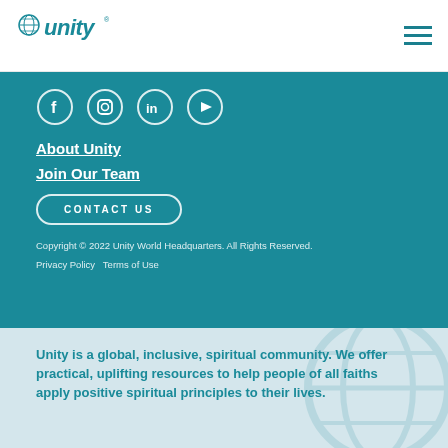Unity logo and hamburger menu navigation
[Figure (logo): Unity world headquarters logo with globe icon and italic 'unity' wordmark]
[Figure (infographic): Four social media icons in circles: Facebook, Instagram, LinkedIn, YouTube]
About Unity
Join Our Team
CONTACT US
Copyright © 2022 Unity World Headquarters. All Rights Reserved.
Privacy Policy   Terms of Use
Unity is a global, inclusive, spiritual community. We offer practical, uplifting resources to help people of all faiths apply positive spiritual principles to their lives.